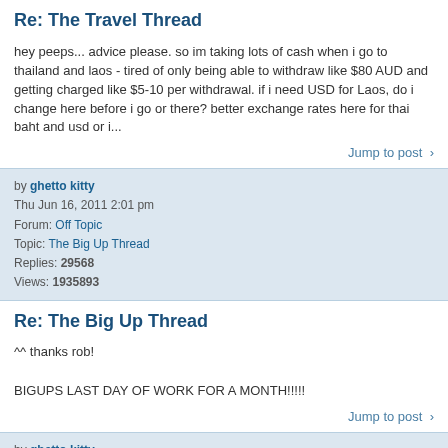Re: The Travel Thread
hey peeps... advice please. so im taking lots of cash when i go to thailand and laos - tired of only being able to withdraw like $80 AUD and getting charged like $5-10 per withdrawal. if i need USD for Laos, do i change here before i go or there? better exchange rates here for thai baht and usd or i...
Jump to post >
by ghetto kitty
Thu Jun 16, 2011 2:01 pm
Forum: Off Topic
Topic: The Big Up Thread
Replies: 29568
Views: 1935893
Re: The Big Up Thread
^^ thanks rob!

BIGUPS LAST DAY OF WORK FOR A MONTH!!!!!
Jump to post >
by ghetto kitty
Thu Jun 16, 2011 1:28 pm
Forum: Off Topic
Topic: Gripe thread
Replies: 31832
Views: 2162421
Re: Gripe thread